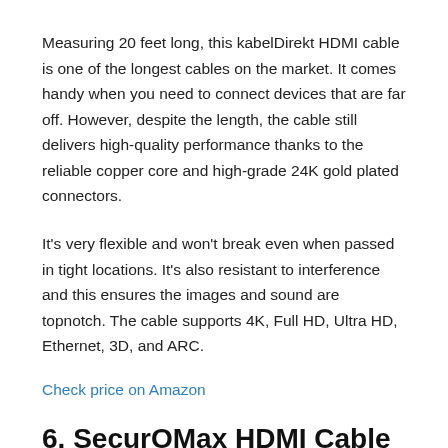Measuring 20 feet long, this kabelDirekt HDMI cable is one of the longest cables on the market. It comes handy when you need to connect devices that are far off. However, despite the length, the cable still delivers high-quality performance thanks to the reliable copper core and high-grade 24K gold plated connectors.
It's very flexible and won't break even when passed in tight locations. It's also resistant to interference and this ensures the images and sound are topnotch. The cable supports 4K, Full HD, Ultra HD, Ethernet, 3D, and ARC.
Check price on Amazon
6. SecurOMax HDMI Cable 10 FT with 4K UHD HDMI, High Speed 18Gbps